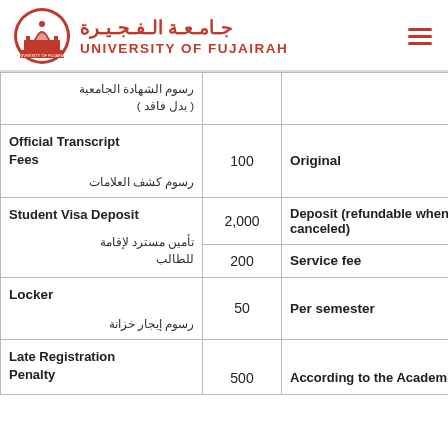University of Fujairah — جامعة الفجيرة
| Service | Amount | Notes |
| --- | --- | --- |
| رسوم الشهادة الجامعية (بدل فاقد) |  |  |
| Official Transcript Fees / رسوم كشف العلامات | 100 | Original |
| Student Visa Deposit / تأمين مسترد لإقامة للطالب | 2,000 | Deposit (refundable when visa canceled) |
| Student Visa Deposit / تأمين مسترد لإقامة للطالب | 200 | Service fee |
| Locker / رسوم إيجار خزانة | 50 | Per semester |
| Late Registration Penalty | 500 | According to the Academic |